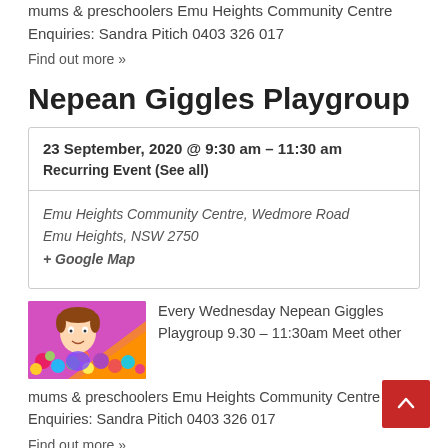mums & preschoolers Emu Heights Community Centre Enquiries: Sandra Pitich 0403 326 017
Find out more »
Nepean Giggles Playgroup
| 23 September, 2020 @ 9:30 am – 11:30 am | Recurring Event (See all) |
| Emu Heights Community Centre, Wedmore Road Emu Heights, NSW 2750 + Google Map |  |
[Figure (photo): Child playing in colorful ball pit]
Every Wednesday Nepean Giggles Playgroup 9.30 – 11:30am Meet other mums & preschoolers Emu Heights Community Centre Enquiries: Sandra Pitich 0403 326 017
Find out more »
Nepean Giggles Playgroup